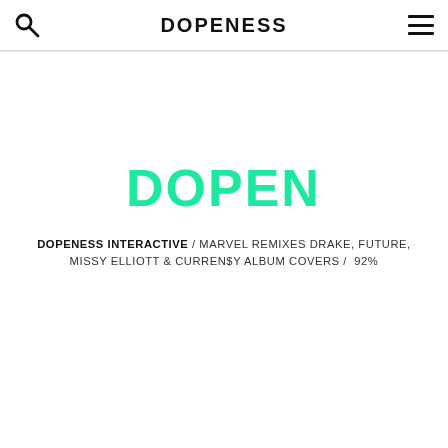DOPENESS
[Figure (logo): DOPENESS logo in teal/green color]
DOPENESS INTERACTIVE / MARVEL REMIXES DRAKE, FUTURE, MISSY ELLIOTT & CURREN$Y ALBUM COVERS /  92%